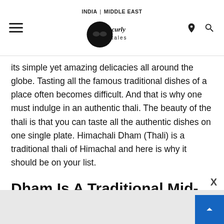INDIA | MIDDLE EAST — Curly Tales logo — hamburger menu, location icon, search icon
its simple yet amazing delicacies all around the globe. Tasting all the famous traditional dishes of a place often becomes difficult. And that is why one must indulge in an authentic thali. The beauty of the thali is that you can taste all the authentic dishes on one single plate. Himachali Dham (Thali) is a traditional thali of Himachal and here is why it should be on your list.
Dham Is A Traditional Mid-Day Meal
Dham is a traditional mid-day meal prepared during auspicious occasions in Himachal Pradesh. It is specially prepared for weddings, religious functions and festivals. The traditional Dham is served on 'Pattals' which are plates made out of leaves. The dishes included in the Himachali Dham differ from district to